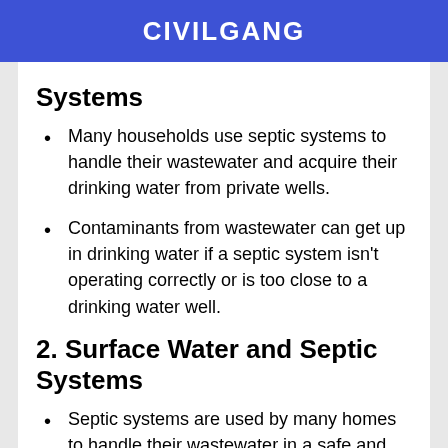CIVILGANG
Systems
Many households use septic systems to handle their wastewater and acquire their drinking water from private wells.
Contaminants from wastewater can get up in drinking water if a septic system isn't operating correctly or is too close to a drinking water well.
2. Surface Water and Septic Systems
Septic systems are used by many homes to handle their wastewater in a safe and